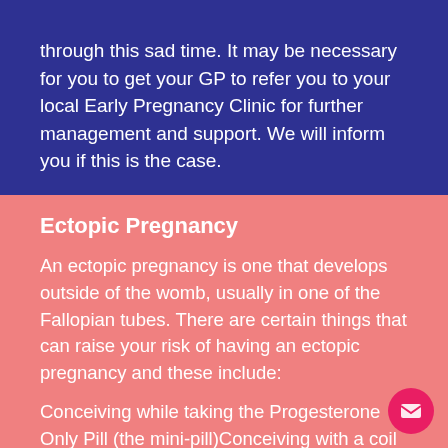through this sad time. It may be necessary for you to get your GP to refer you to your local Early Pregnancy Clinic for further management and support. We will inform you if this is the case.
Ectopic Pregnancy
An ectopic pregnancy is one that develops outside of the womb, usually in one of the Fallopian tubes. There are certain things that can raise your risk of having an ectopic pregnancy and these include:
Conceiving while taking the Progesterone Only Pill (the mini-pill)Conceiving with a coil in placePrevious abdominal surgery e.g. Caesarion section or...